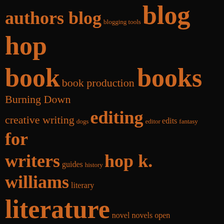[Figure (infographic): Tag cloud on black background with orange text. Tags of varying sizes representing categories/topics related to writing, books, and publishing. Larger tags include: blog hop, book, books, for writers, hop k. williams, literature, Open Book, open book blog hop, publishing, The Blog, The Trailokya Trilogy, The Trailokya Trilogy-Book One: The Shadow Soul, writing. Smaller tags include: authors blog, blogging tools, book production, Burning Down, creative writing, dogs, editing, editor, edits, fantasy, guides, history, literary, novel, novels, open, paranormal, reading, science fiction, The Shadow Soul, The Trailokya Trilogy-Book Three: The Lucent Rise, The Trailokya Trilogy-Book Two: Burning Down, tips, writer, writers, writers, writing on everything.]